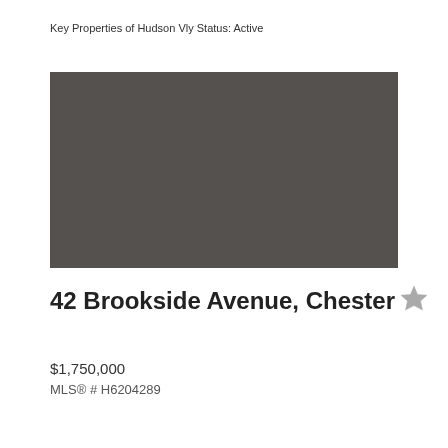Key Properties of Hudson Vly Status: Active
[Figure (photo): Property photo placeholder — solid dark gray rectangle representing a property image]
42 Brookside Avenue, Chester
$1,750,000
MLS® # H6204289